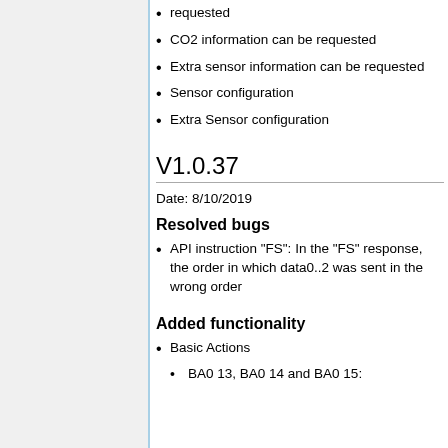requested
CO2 information can be requested
Extra sensor information can be requested
Sensor configuration
Extra Sensor configuration
V1.0.37
Date: 8/10/2019
Resolved bugs
API instruction "FS": In the "FS" response, the order in which data0..2 was sent in the wrong order
Added functionality
Basic Actions
BA0 13, BA0 14 and BA0 15: